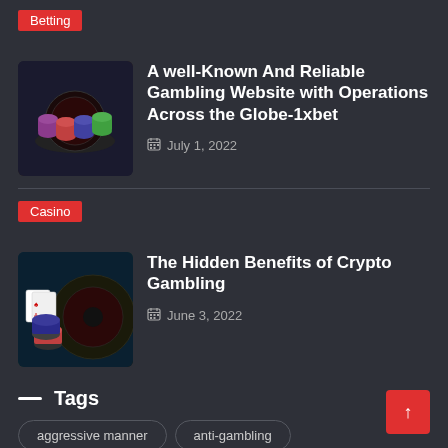Betting
A well-Known And Reliable Gambling Website with Operations Across the Globe-1xbet
July 1, 2022
Casino
The Hidden Benefits of Crypto Gambling
June 3, 2022
Tags
aggressive manner
anti-gambling